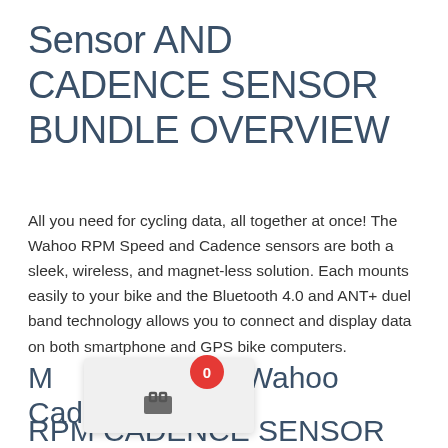Sensor AND CADENCE SENSOR BUNDLE OVERVIEW
All you need for cycling data, all together at once! The Wahoo RPM Speed and Cadence sensors are both a sleek, wireless, and magnet-less solution. Each mounts easily to your bike and the Bluetooth 4.0 and ANT+ duel band technology allows you to connect and display data on both smartphone and GPS bike computers.
More about the Wahoo Cadence Sensor
RPM CADENCE SENSOR